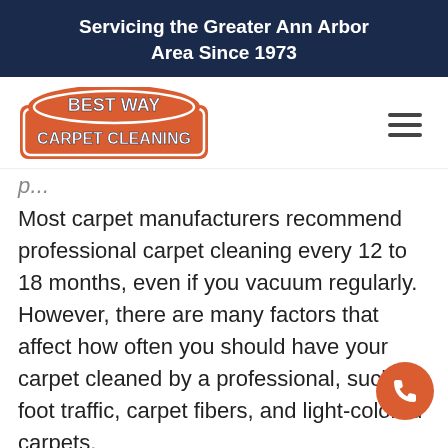Servicing the Greater Ann Arbor Area Since 1973
[Figure (logo): Best Way Carpet Cleaning logo — orange arched sign with white bold text]
p...
Most carpet manufacturers recommend professional carpet cleaning every 12 to 18 months, even if you vacuum regularly. However, there are many factors that affect how often you should have your carpet cleaned by a professional, such as foot traffic, carpet fibers, and light-colored carpets.
A report shows that professional